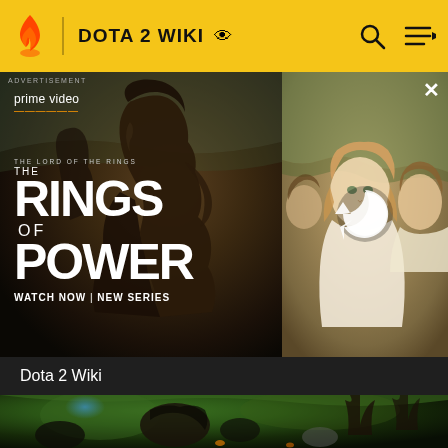DOTA 2 WIKI
[Figure (screenshot): Amazon Prime Video advertisement for 'The Lord of the Rings: The Rings of Power' showing a hooded figure and characters, with text 'WATCH NOW | NEW SERIES']
Dota 2 Wiki
[Figure (screenshot): Dota 2 game map aerial screenshot showing characters and trees on a green battlefield]